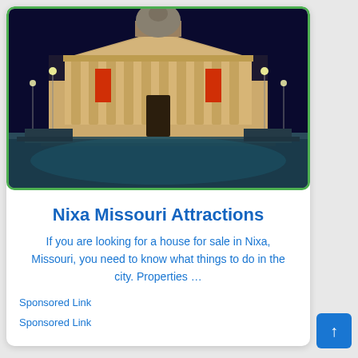[Figure (photo): Night photograph of a neoclassical building with illuminated columns, dome, and red banners, resembling the National Gallery in London's Trafalgar Square. The building is lit in warm golden light against a dark blue night sky.]
Nixa Missouri Attractions
If you are looking for a house for sale in Nixa, Missouri, you need to know what things to do in the city. Properties …
Sponsored Link
Sponsored Link